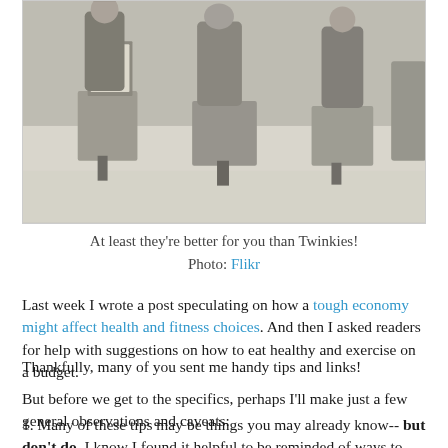[Figure (photo): Vintage black and white photograph of people selling apples from wooden crates on a sidewalk during the Great Depression era. A sign on the crate reads 'APPLES 5 cents'.]
At least they're better for you than Twinkies!
Photo: Flikr
Last week I wrote a post speculating on how a tough economy might affect health and fitness choices. And then I asked readers for help with suggestions on how to eat healthy and exercise on a budget.
Thankfully, many of you sent me handy tips and links!
But before we get to the specifics, perhaps I'll make just a few general observations and caveats:
1. Many of these tips may be things you may already know-- but don't do. I know I found it helpful to be reminded of ways to save money that I was familiar with but had gotten